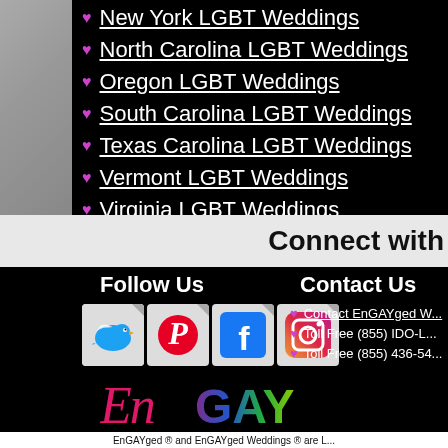New York LGBT Weddings
North Carolina LGBT Weddings
Oregon LGBT Weddings
South Carolina LGBT Weddings
Texas Carolina LGBT Weddings
Vermont LGBT Weddings
Virginia LGBT Weddings
Washington LGBT Weddings
Connect with
Follow Us
[Figure (illustration): Social media icons: Twitter (bird), Pinterest (P), Facebook (f), Instagram (camera)]
Contact Us
Contact EnGAYged W...
Toll Free (855) IDO-L...
Toll Free (855) 436-54...
[Figure (logo): EnGAYged logo in rainbow and pink script]
EnGAYged ® and EnGAYged Weddings ® are L...